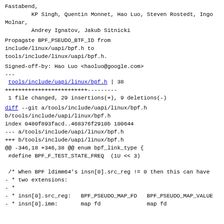Fastabend,
        KP Singh, Quentin Monnet, Hao Luo, Steven Rostedt, Ingo Molnar,
        Andrey Ignatov, Jakub Sitnicki
Propagate BPF_PSEUDO_BTF_ID from include/linux/uapi/bpf.h to tools/include/linux/uapi/bpf.h.
Signed-off-by: Hao Luo <haoluo@google.com>
---
 tools/include/uapi/linux/bpf.h | 38
+++++++++++++++++++++++++---------
 1 file changed, 29 insertions(+), 9 deletions(-)
diff --git a/tools/include/uapi/linux/bpf.h b/tools/include/uapi/linux/bpf.h
index 0480f893facd..468376f2910b 100644
--- a/tools/include/uapi/linux/bpf.h
+++ b/tools/include/uapi/linux/bpf.h
@@ -346,18 +346,38 @@ enum bpf_link_type {
 #define BPF_F_TEST_STATE_FREQ  (1U << 3)

 /* When BPF ldimm64's insn[0].src_reg != 0 then this can have
- * two extensions:
- *
- * insn[0].src_reg:   BPF_PSEUDO_MAP_FD   BPF_PSEUDO_MAP_VALUE
- * insn[0].imm:       map fd              map fd